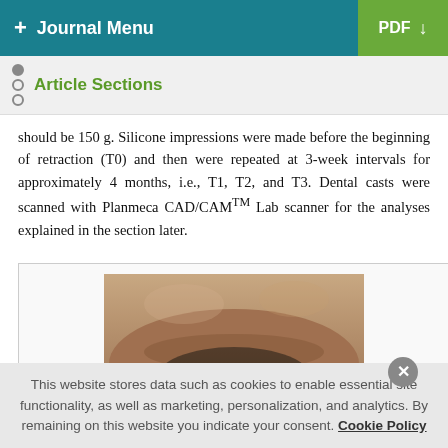+ Journal Menu | PDF
Article Sections
should be 150 g. Silicone impressions were made before the beginning of retraction (T0) and then were repeated at 3-week intervals for approximately 4 months, i.e., T1, T2, and T3. Dental casts were scanned with Planmeca CAD/CAMTM Lab scanner for the analyses explained in the section later.
[Figure (photo): Close-up photograph of a patient's lower face/chin area showing skin and a dark oval dental appliance or impression tray placed in the mouth region.]
This website stores data such as cookies to enable essential site functionality, as well as marketing, personalization, and analytics. By remaining on this website you indicate your consent. Cookie Policy